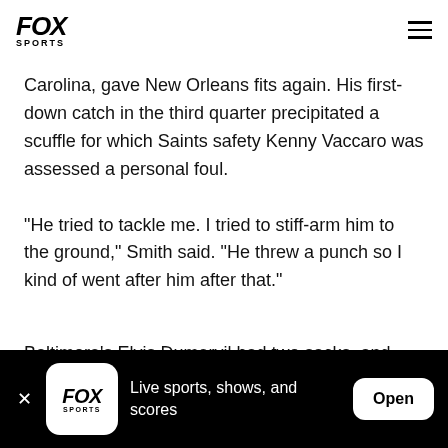FOX SPORTS
Carolina, gave New Orleans fits again. His first-down catch in the third quarter precipitated a scuffle for which Saints safety Kenny Vaccaro was assessed a personal foul.
"He tried to tackle me. I tried to stiff-arm him to the ground," Smith said. "He threw a punch so I kind of went after him after that."
Baltimore's Elvis Dumervil had two sacks, and Suggs
[Figure (screenshot): Fox Sports app banner at bottom of screen showing logo, 'Live sports, shows, and scores' text, and Open button]